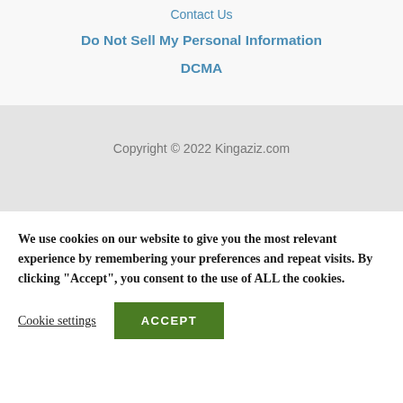Contact Us
Do Not Sell My Personal Information
DCMA
Copyright © 2022 Kingaziz.com
We use cookies on our website to give you the most relevant experience by remembering your preferences and repeat visits. By clicking “Accept”, you consent to the use of ALL the cookies.
Cookie settings
ACCEPT